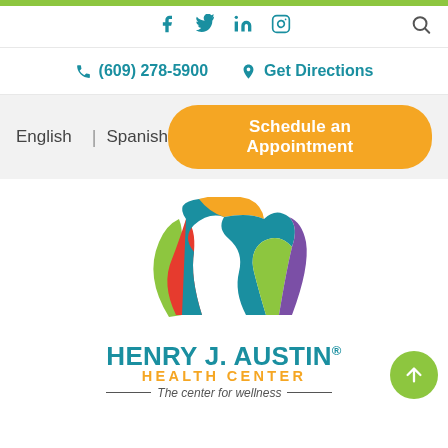Social icons: Facebook, Twitter, LinkedIn, Instagram; Search icon
(609) 278-5900   Get Directions
English | Spanish   Schedule an Appointment
[Figure (logo): Henry J. Austin Health Center logo with colorful interlocked ribbon arch in green, orange, blue, red, purple colors above the text HENRY J. AUSTIN HEALTH CENTER — The center for wellness]